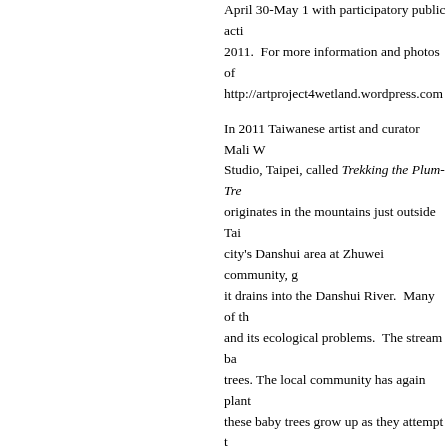April 30-May 1 with participatory public acti... 2011.  For more information and photos of... http://artproject4wetland.wordpress.com
In 2011 Taiwanese artist and curator Mali W... Studio, Taipei, called Trekking the Plum-Tre... originates in the mountains just outside Tai... city's Danshui area at Zhuwei community, g... it drains into the Danshui River.  Many of th... and its ecological problems.  The stream ba... trees. The local community has again plant... these baby trees grow up as they attempt t...
The Plum Tree Creek art project is a year-l... Taiwanese artists including Mali Wu, Marga... Shu-Hwa Rong,Ting-Ya Chang,Yi-Fong Ch... long-time resident of the Danshui area, hav... especially school children in the green art p... awareness and spur action on a local level... eco village in the future.  The project, a par... community, has received funding from Taiw... The project begins in March 2011, and will... publication of documentation about the pro... environmental artist Margaret Shiu working...